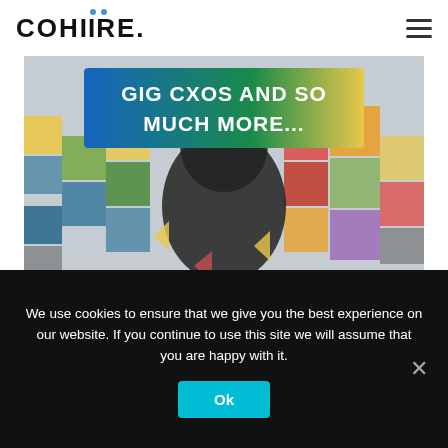[Figure (logo): COHIRE logo with two blue dots above the double-I letters]
[Figure (illustration): Hero banner image with human head silhouette surrounded by colorful icons and the text 'GIG CXOS AND SO MUCH MORE...' on a blue-to-yellow gradient banner]
We use cookies to ensure that we give you the best experience on our website. If you continue to use this site we will assume that you are happy with it.
Ok